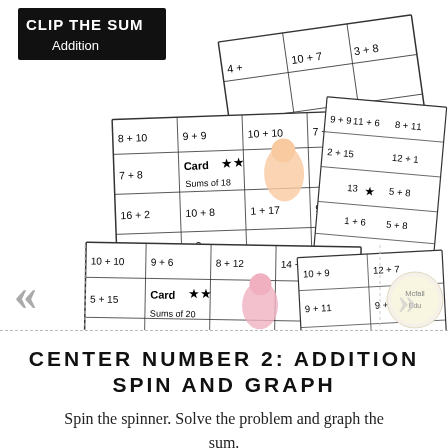[Figure (illustration): A collection of overlapping math addition card game cards titled 'Clip the Sum Addition'. Cards show addition problems like 8+10, 9+9, 10+10, 7+8, 16+2, 10+8, 1+17, 9+10, 15+3, 5+15, 9+6, 8+12, 14+6, 10+9, 13+5, 1+19, 17+3, 1+18, 6+13, 8+2, 5+14. Cards labeled 'Card Sums of 18', 'Card Sums of 20', and 'Card of 19' with cartoon girl illustrations. Navigation arrows on left and right sides, and a logo circle on the bottom right.]
CENTER NUMBER 2: ADDITION SPIN AND GRAPH
Spin the spinner. Solve the problem and graph the sum.